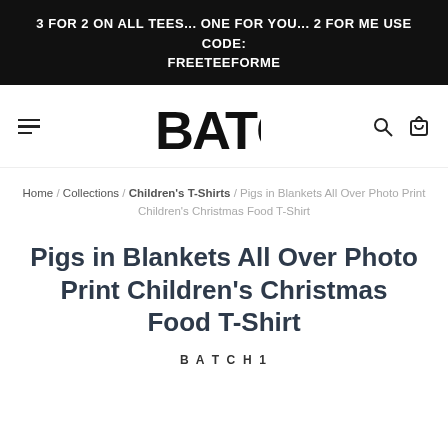3 FOR 2 ON ALL TEES... ONE FOR YOU... 2 FOR ME USE CODE: FREETEEFORME
[Figure (logo): BATCH1 bold blocky logo with hamburger menu icon on left and search/cart icons on right]
Home / Collections / Children's T-Shirts / Pigs in Blankets All Over Photo Print Children's Christmas Food T-Shirt
Pigs in Blankets All Over Photo Print Children's Christmas Food T-Shirt
BATCH1